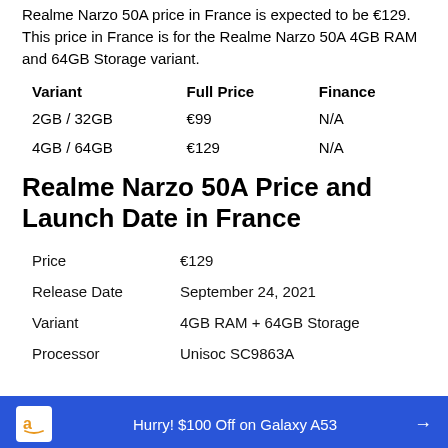Realme Narzo 50A price in France is expected to be €129. This price in France is for the Realme Narzo 50A 4GB RAM and 64GB Storage variant.
| Variant | Full Price | Finance |
| --- | --- | --- |
| 2GB / 32GB | €99 | N/A |
| 4GB / 64GB | €129 | N/A |
Realme Narzo 50A Price and Launch Date in France
| Price | €129 |
| Release Date | September 24, 2021 |
| Variant | 4GB RAM + 64GB Storage |
| Processor | Unisoc SC9863A |
Hurry! $100 Off on Galaxy A53